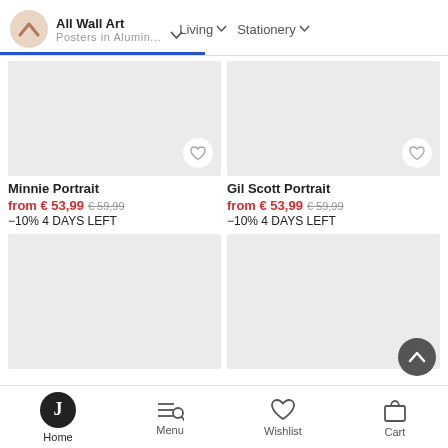All Wall Art — Posters in Alumin... | Living | Stationery
[Figure (screenshot): Product card: Minnie Portrait, from € 53,99 (was € 59,99), -10% 4 DAYS LEFT]
[Figure (screenshot): Product card: Gil Scott Portrait, from € 53,99 (was € 59,99), -10% 4 DAYS LEFT]
[Figure (screenshot): Product card: bottom-left, no text visible]
[Figure (screenshot): Product card: bottom-right, no text visible]
Home | Menu | Wishlist | Cart